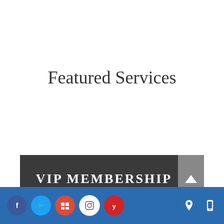Featured Services
VIP MEMBERSHIP
[Figure (infographic): Blue footer bar with social media icons (Facebook, Twitter, Google My Business, Instagram, Yelp) on the left and location/mobile icons on the right]